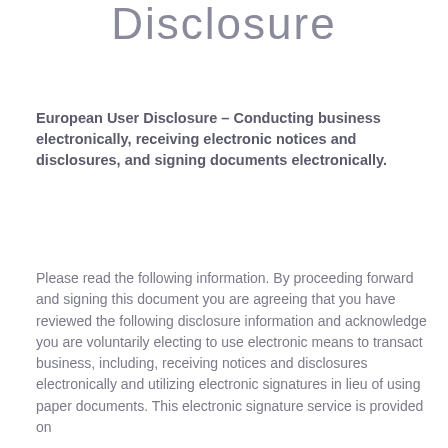Disclosure
European User Disclosure – Conducting business electronically, receiving electronic notices and disclosures, and signing documents electronically.
Please read the following information. By proceeding forward and signing this document you are agreeing that you have reviewed the following disclosure information and acknowledge you are voluntarily electing to use electronic means to transact business, including, receiving notices and disclosures electronically and utilizing electronic signatures in lieu of using paper documents. This electronic signature service is provided on